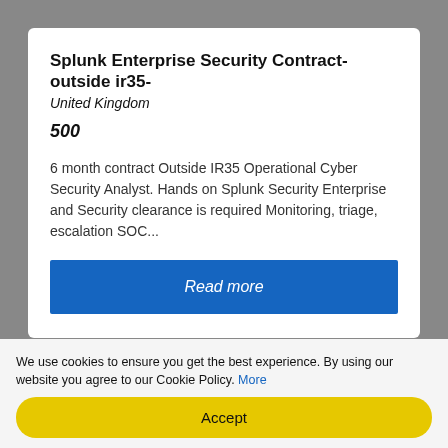Splunk Enterprise Security Contract- outside ir35-
United Kingdom
500
6 month contract Outside IR35 Operational Cyber Security Analyst. Hands on Splunk Security Enterprise and Security clearance is required Monitoring, triage, escalation SOC...
Read more
View More
We use cookies to ensure you get the best experience. By using our website you agree to our Cookie Policy. More
Accept